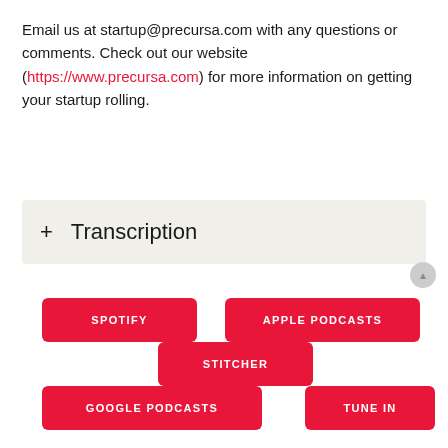Email us at startup@precursa.com with any questions or comments. Check out our website (https://www.precursa.com) for more information on getting your startup rolling.
+ Transcription
[Figure (infographic): Five podcast platform buttons: SPOTIFY, APPLE PODCASTS, STITCHER, GOOGLE PODCASTS, TUNE IN — all in red with white uppercase text, arranged in a staggered overlapping layout.]